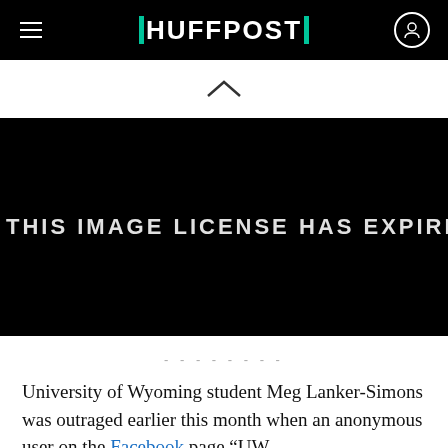HUFFPOST
[Figure (other): Black rectangle with text: THIS IMAGE LICENSE HAS EXPIRED]
--------
University of Wyoming student Meg Lanker-Simons was outraged earlier this month when an anonymous user on the Facebook page “UW